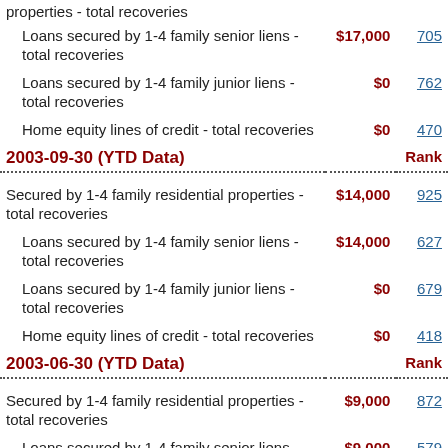| Description | Value | Rank |
| --- | --- | --- |
| properties - total recoveries |  |  |
| Loans secured by 1-4 family senior liens - total recoveries | $17,000 | 705 |
| Loans secured by 1-4 family junior liens - total recoveries | $0 | 762 |
| Home equity lines of credit - total recoveries | $0 | 470 |
| 2003-09-30 (YTD Data) |  | Rank |
| Secured by 1-4 family residential properties - total recoveries | $14,000 | 925 |
| Loans secured by 1-4 family senior liens - total recoveries | $14,000 | 627 |
| Loans secured by 1-4 family junior liens - total recoveries | $0 | 679 |
| Home equity lines of credit - total recoveries | $0 | 418 |
| 2003-06-30 (YTD Data) |  | Rank |
| Secured by 1-4 family residential properties - total recoveries | $9,000 | 872 |
| Loans secured by 1-4 family senior liens - total recoveries | $9,000 | 579 |